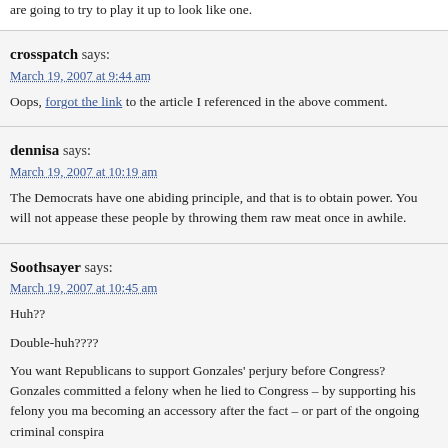are going to try to play it up to look like one.
crosspatch says:
March 19, 2007 at 9:44 am
Oops, forgot the link to the article I referenced in the above comment.
dennisa says:
March 19, 2007 at 10:19 am
The Democrats have one abiding principle, and that is to obtain power. You will not appease these people by throwing them raw meat once in awhile.
Soothsayer says:
March 19, 2007 at 10:45 am
Huh??

Double-huh????

You want Republicans to support Gonzales' perjury before Congress? Gonzales committed a felony when he lied to Congress – by supporting his felony you may be becoming an accessory after the fact – or part of the ongoing criminal conspiracy.

A lot of these problems could be avoided if Republicans would just promise to tell the truth when under oath – oh – good point – that's exactly what they DID do – the